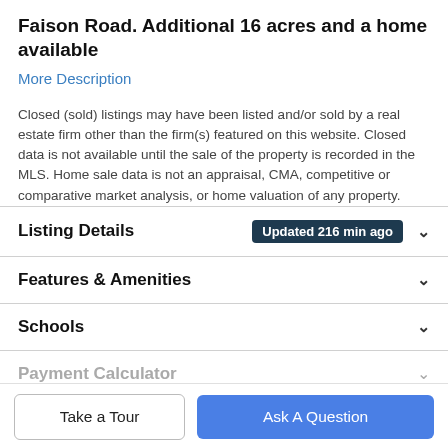Faison Road. Additional 16 acres and a home available
More Description
Closed (sold) listings may have been listed and/or sold by a real estate firm other than the firm(s) featured on this website. Closed data is not available until the sale of the property is recorded in the MLS. Home sale data is not an appraisal, CMA, competitive or comparative market analysis, or home valuation of any property.
Listing Details  Updated 216 min ago
Features & Amenities
Schools
Payment Calculator
Take a Tour
Ask A Question